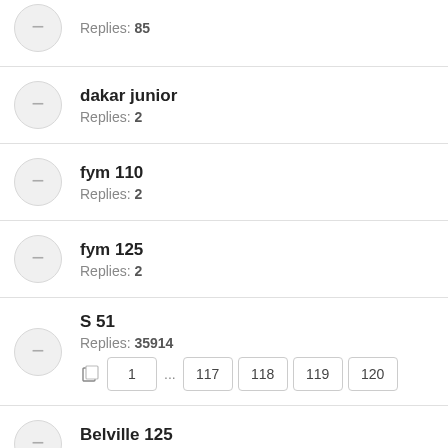Replies: 85
dakar junior
Replies: 2
fym 110
Replies: 2
fym 125
Replies: 2
S 51
Replies: 35914
Pages: 1 ... 117 118 119 120
Belville 125
Replies: 1
Brutale 675